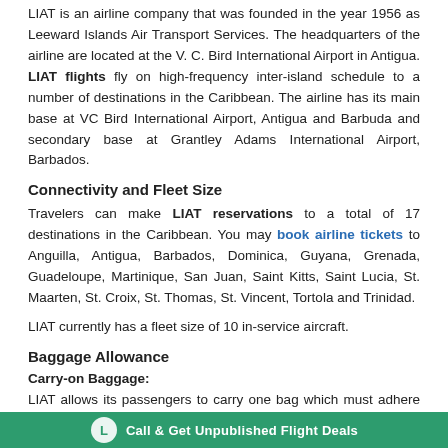LIAT is an airline company that was founded in the year 1956 as Leeward Islands Air Transport Services. The headquarters of the airline are located at the V. C. Bird International Airport in Antigua. LIAT flights fly on high-frequency inter-island schedule to a number of destinations in the Caribbean. The airline has its main base at VC Bird International Airport, Antigua and Barbuda and secondary base at Grantley Adams International Airport, Barbados.
Connectivity and Fleet Size
Travelers can make LIAT reservations to a total of 17 destinations in the Caribbean. You may book airline tickets to Anguilla, Antigua, Barbados, Dominica, Guyana, Grenada, Guadeloupe, Martinique, San Juan, Saint Kitts, Saint Lucia, St. Maarten, St. Croix, St. Thomas, St. Vincent, Tortola and Trinidad.
LIAT currently has a fleet size of 10 in-service aircraft.
Baggage Allowance
Carry-on Baggage:
LIAT allows its passengers to carry one bag which must adhere to the following requirements –
Call & Get Unpublished Flight Deals